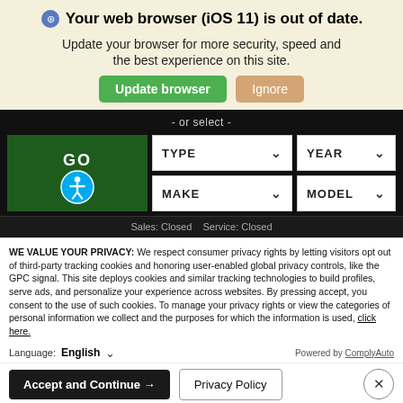Your web browser (iOS 11) is out of date.
Update your browser for more security, speed and the best experience on this site.
Update browser   Ignore
- or select -
[Figure (screenshot): Vehicle selector with dropdowns for TYPE, YEAR, MAKE, MODEL and a green GO button with an accessibility icon]
Sales: Closed   Service: Closed
WE VALUE YOUR PRIVACY: We respect consumer privacy rights by letting visitors opt out of third-party tracking cookies and honoring user-enabled global privacy controls, like the GPC signal. This site deploys cookies and similar tracking technologies to build profiles, serve ads, and personalize your experience across websites. By pressing accept, you consent to the use of such cookies. To manage your privacy rights or view the categories of personal information we collect and the purposes for which the information is used, click here.
Language: English   Powered by ComplyAuto
Accept and Continue →   Privacy Policy   ×